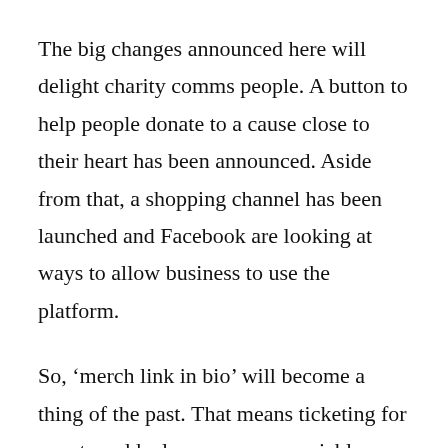The big changes announced here will delight charity comms people. A button to help people donate to a cause close to their heart has been announced. Aside from that, a shopping channel has been launched and Facebook are looking at ways to allow business to use the platform.
So, ‘merch link in bio’ will become a thing of the past. That means ticketing for events suddenly opens up as a viable strategy.